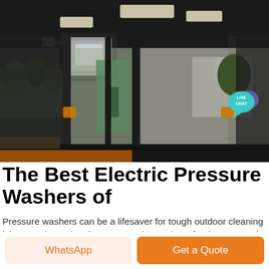[Figure (photo): Interior cab view of a tractor or heavy equipment, looking forward through the cab with overhead lights, mirrors, and surrounding equipment/buildings visible outside]
The Best Electric Pressure Washers of
Pressure washers can be a lifesaver for tough outdoor cleaning jobs. Read our electric power washer reviews for the top-rated models of , tested by cleaning experts. .Includes a handy shopping guide and helpful tips
WhatsApp
Get a Quote